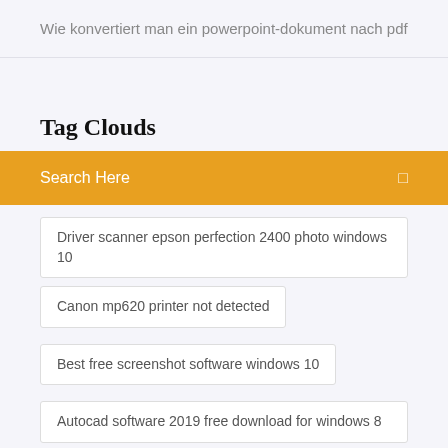Wie konvertiert man ein powerpoint-dokument nach pdf
Tag Clouds
Search Here
Driver scanner epson perfection 2400 photo windows 10
Canon mp620 printer not detected
Best free screenshot software windows 10
Autocad software 2019 free download for windows 8
Is intel iris pro 5200 good for gaming
Where are my contacts in gmail on my android tablet